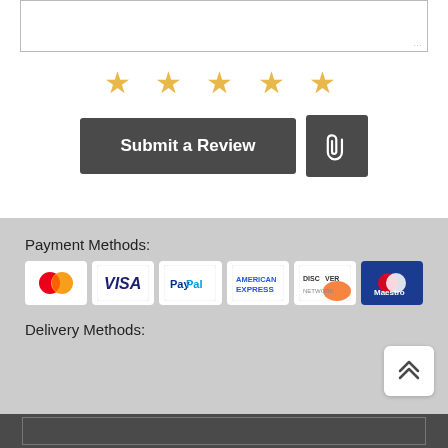[Figure (screenshot): Text area input box (partially visible at top)]
[Figure (other): Five gold star rating symbols]
[Figure (other): Submit a Review button and paperclip attachment button]
Payment Methods:
[Figure (other): Payment method logos: MasterCard, VISA, PayPal, American Express, Discover Network, Maestro]
Delivery Methods:
[Figure (other): Scroll to top arrow button]